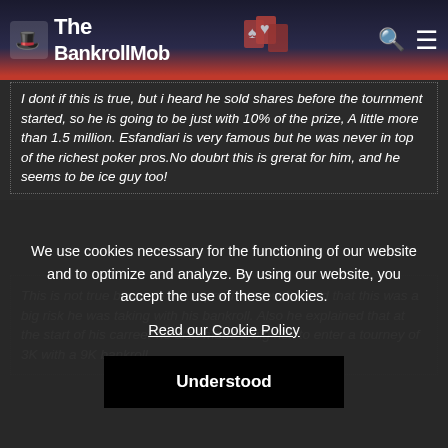The BankrollMob
I dont if this is true, but i heard he sold shares before the tournment started, so he is going to be just with 10% of the prize, A little more than 1.5 million. Esfandiari is very famous but he was never in top of the richest poker pros.No doubrt this is grerat for him, and he seems to be ice guy too!
This is not true because in the pre interview he said that this was a big risk he was taking with his bankroll. Also he explained that at the start of his carreer he also made a big risk to enter a tourney of 3K with a 9K bankroll
So because he said this i know for sure he at least put 500.000 if
We use cookies necessary for the functioning of our website and to optimize and analyze. By using our website, you accept the use of these cookies.
Read our Cookie Policy
Understood